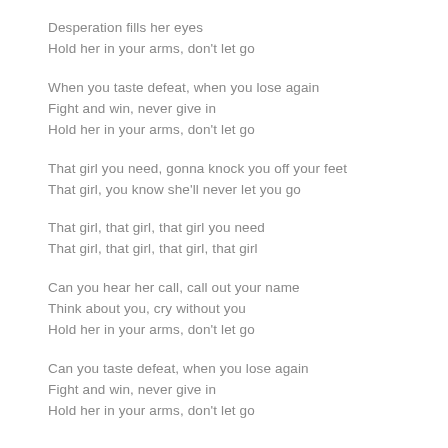Desperation fills her eyes
Hold her in your arms, don't let go
When you taste defeat, when you lose again
Fight and win, never give in
Hold her in your arms, don't let go
That girl you need, gonna knock you off your feet
That girl, you know she'll never let you go
That girl, that girl, that girl you need
That girl, that girl, that girl, that girl
Can you hear her call, call out your name
Think about you, cry without you
Hold her in your arms, don't let go
Can you taste defeat, when you lose again
Fight and win, never give in
Hold her in your arms, don't let go